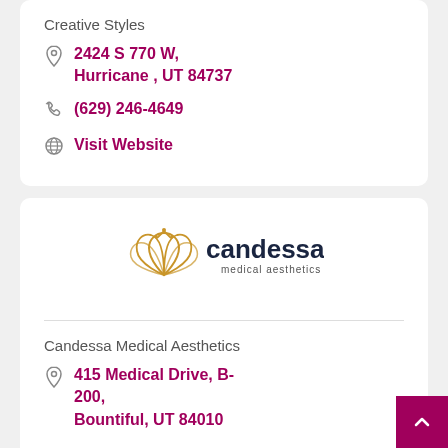Creative Styles
2424 S 770 W, Hurricane , UT 84737
(629) 246-4649
Visit Website
[Figure (logo): Candessa Medical Aesthetics logo — golden lotus/crown icon with 'candessa medical aesthetics' text in dark navy]
Candessa Medical Aesthetics
415 Medical Drive, B-200, Bountiful, UT 84010